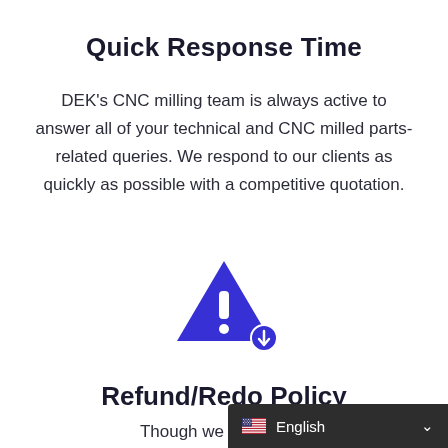Quick Response Time
DEK's CNC milling team is always active to answer all of your technical and CNC milled parts-related queries. We respond to our clients as quickly as possible with a competitive quotation.
[Figure (illustration): Blue warning triangle icon with white exclamation mark and a small blue download/scroll circle badge at bottom right]
Refund/Redo Policy
Though we promise to
English